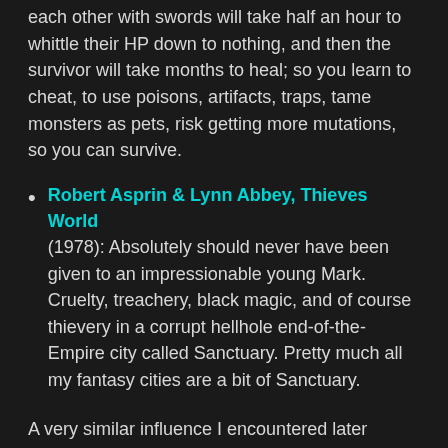each other with swords will take half an hour to whittle their HP down to nothing, and then the survivor will take months to heal; so you learn to cheat, to use poisons, artifacts, traps, tame monsters as pets, risk getting more mutations, so you can survive.
Robert Asprin & Lynn Abbey, Thieves World (1978): Absolutely should never have been given to an impressionable young Mark. Cruelty, treachery, black magic, and of course thievery in a corrupt hellhole end-of-the-Empire city called Sanctuary. Pretty much all my fantasy cities are a bit of Sanctuary.
A very similar influence I encountered later